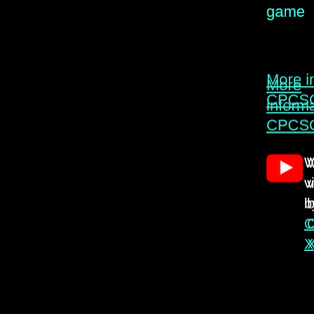game
More information on CPCSOFTS
[Figure (other): YouTube play button red icon]
Watch YouTube videos of this game by: Axelino, ChinnyVision, Xyphoe.
9
The Untouchables (Ocean, 1...
Take control